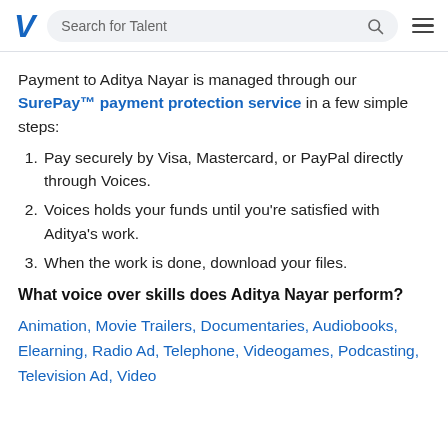Search for Talent
Payment to Aditya Nayar is managed through our SurePay™ payment protection service in a few simple steps:
Pay securely by Visa, Mastercard, or PayPal directly through Voices.
Voices holds your funds until you're satisfied with Aditya's work.
When the work is done, download your files.
What voice over skills does Aditya Nayar perform?
Animation, Movie Trailers, Documentaries, Audiobooks, Elearning, Radio Ad, Telephone, Videogames, Podcasting, Television Ad, Video